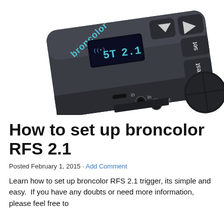[Figure (photo): Photo of broncolor RFS 2.1 wireless trigger device — a dark gray rectangular unit with navigation buttons, set and test buttons, an OLED display showing channel info, micro USB port labeled 'in', and two 3.5mm jacks labeled 'in' and 'out', mounted on a camera hot shoe.]
How to set up broncolor RFS 2.1
Posted February 1, 2015 · Add Comment
Learn how to set up broncolor RFS 2.1 trigger, its simple and easy.  If you have any doubts or need more information, please feel free to